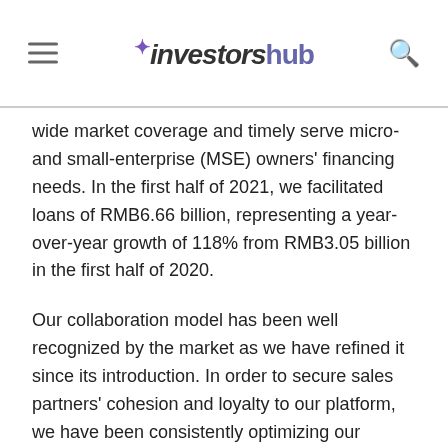investorshub
wide market coverage and timely serve micro-and small-enterprise (MSE) owners' financing needs. In the first half of 2021, we facilitated loans of RMB6.66 billion, representing a year-over-year growth of 118% from RMB3.05 billion in the first half of 2020.
Our collaboration model has been well recognized by the market as we have refined it since its introduction. In order to secure sales partners' cohesion and loyalty to our platform, we have been consistently optimizing our services.
To achieve our mission of providing accessible, affordable and efficient financing solutions to MSE owners in China and helping them achieve their business dreams, and to follow the government's policy of "developing an inclusive finance system", we will leverage our advantages gained